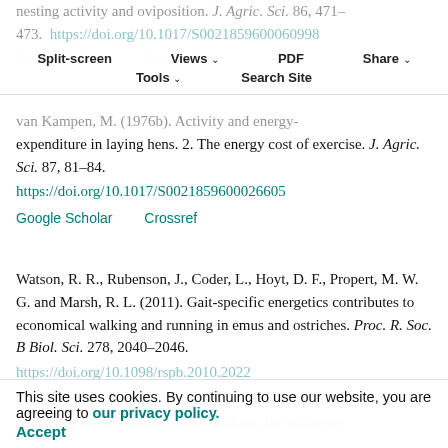nesting activity and oviposition. J. Agric. Sci. 86, 471-473. https://doi.org/10.1017/S0021859600060998  Google Scholar  Crossref
van Kampen, M. (1976b). Activity and energy-expenditure in laying hens. 2. The energy cost of exercise. J. Agric. Sci. 87, 81-84. https://doi.org/10.1017/S0021859600026605  Google Scholar  Crossref
Watson, R. R., Rubenson, J., Coder, L., Hoyt, D. F., Propert, M. W. G. and Marsh, R. L. (2011). Gait-specific energetics contributes to economical walking and running in emus and ostriches. Proc. R. Soc. B Biol. Sci. 278, 2040-2046. https://doi.org/10.1098/rspb.2010.2022
Weyand, P. G., Smith, B. R. and Sandell, R. F. (2009). Assessing the metabolic cost of walking: the influence
This site uses cookies. By continuing to use our website, you are agreeing to our privacy policy. Accept